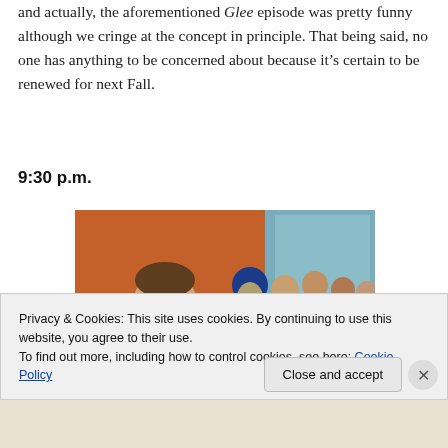and actually, the aforementioned Glee episode was pretty funny although we cringe at the concept in principle. That being said, no one has anything to be concerned about because it's certain to be renewed for next Fall.
9:30 p.m.
[Figure (photo): A smiling young man in a blue shirt and tie in the foreground, with a group of people in the background in a colorful indoor/outdoor setting.]
Privacy & Cookies: This site uses cookies. By continuing to use this website, you agree to their use.
To find out more, including how to control cookies, see here: Cookie Policy